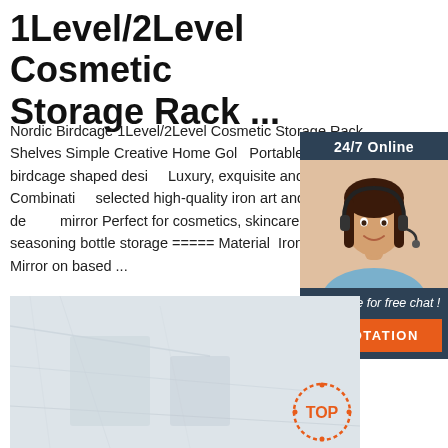1Level/2Level Cosmetic Storage Rack ...
Nordic Birdcage 1Level/2Level Cosmetic Storage Rack Shelves Simple Creative Home Gold Portable. Creative birdcage shaped desi... Luxury, exquisite and elegant Combinati... selected high-quality iron art and high-de... mirror Perfect for cosmetics, skincare, pe... seasoning bottle storage ===== Material Iron+Glass + Mirror on based ...
[Figure (photo): Customer service representative with headset, 24/7 Online chat widget with QUOTATION button]
[Figure (photo): Product image showing cosmetic storage rack on marble/stone surface, with TOP badge overlay]
Get Price